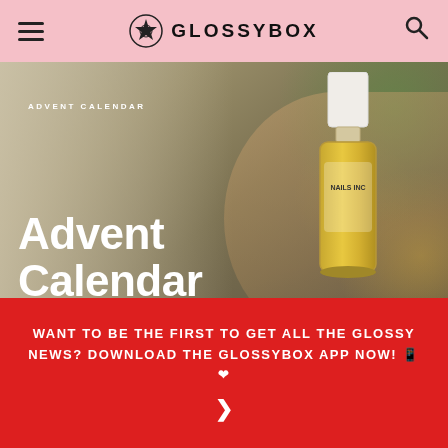GLOSSYBOX
[Figure (photo): Close-up photo of a hand holding a Nails Inc gold nail polish bottle, with lace fabric in the background and blurred Christmas lights/bokeh in the background.]
ADVENT CALENDAR
Advent Calendar 2019: Final Reveal
WANT TO BE THE FIRST TO GET ALL THE GLOSSY NEWS? DOWNLOAD THE GLOSSYBOX APP NOW! ❤ ›